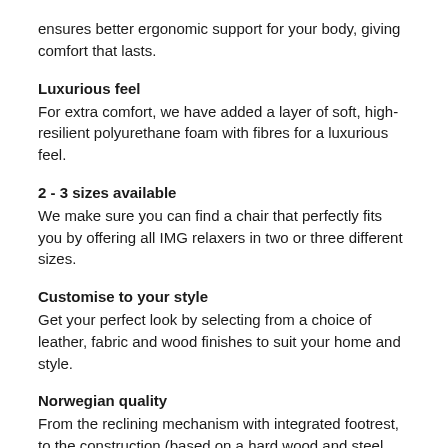ensures better ergonomic support for your body, giving comfort that lasts.
Luxurious feel
For extra comfort, we have added a layer of soft, high-resilient polyurethane foam with fibres for a luxurious feel.
2 - 3 sizes available
We make sure you can find a chair that perfectly fits you by offering all IMG relaxers in two or three different sizes.
Customise to your style
Get your perfect look by selecting from a choice of leather, fabric and wood finishes to suit your home and style.
Norwegian quality
From the reclining mechanism with integrated footrest, to the construction (based on a hard wood and steel frame, encased with our unique moulded foam), all IMG